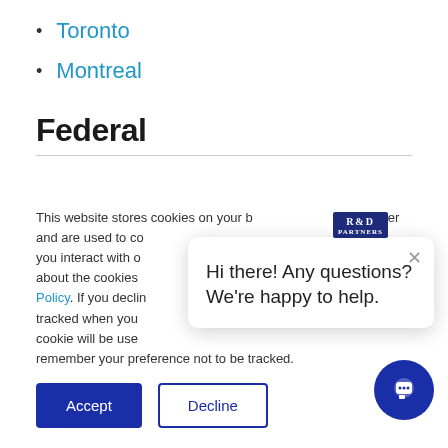Toronto
Montreal
Federal
This website stores cookies on your browser and are used to collect information about how you interact with our website and allow us to remember you. To find out more about the cookies we use, see our Privacy Policy. If you decline, your information won't be tracked when you visit this website. A single cookie will be used in your browser to remember your preference not to be tracked.
[Figure (logo): R&D Partners logo badge]
[Figure (infographic): Chat popup: Hi there! Any questions? We're happy to help.]
[Figure (infographic): Chat button circle icon]